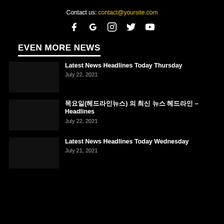Contact us: contact@yoursite.com
[Figure (infographic): Social media icons: Facebook, Google+, Instagram, Twitter, YouTube]
EVEN MORE NEWS
Latest News Headlines Today Thursday
July 22, 2021
목요일(헤드라인뉴스) 의 최신 뉴스 헤드라인 – Headlines
July 22, 2021
Latest News Headlines Today Wednesday
July 21, 2021